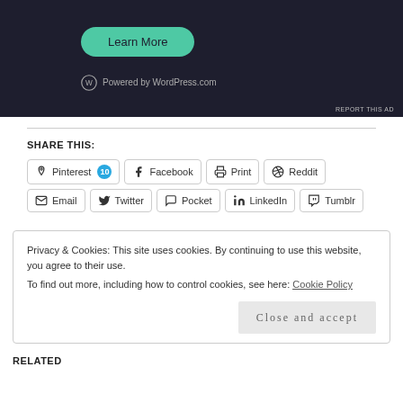[Figure (screenshot): Dark-themed ad banner with a teal 'Learn More' rounded button and 'Powered by WordPress.com' text with WordPress logo at bottom left. 'REPORT THIS AD' text in bottom right corner.]
SHARE THIS:
Pinterest 10 | Facebook | Print | Reddit | Email | Twitter | Pocket | LinkedIn | Tumblr
Privacy & Cookies: This site uses cookies. By continuing to use this website, you agree to their use.
To find out more, including how to control cookies, see here: Cookie Policy
Close and accept
RELATED